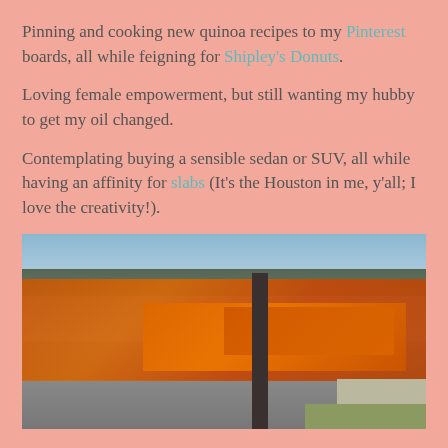Pinning and cooking new quinoa recipes to my Pinterest boards, all while feigning for Shipley's Donuts.
Loving female empowerment, but still wanting my hubby to get my oil changed.
Contemplating buying a sensible sedan or SUV, all while having an affinity for slabs (It's the Houston in me, y'all; I love the creativity!).
[Figure (photo): Street scene showing a line of customized orange slab cars (lowriders) driving down a road, with trees in the background, a utility pole on the right side, and a sidewalk with grass.]